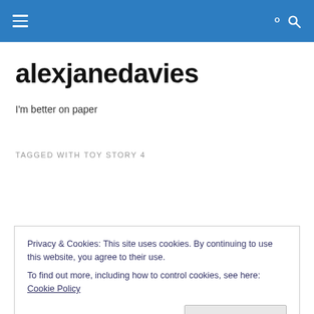alexjanedavies — navigation menu and search
alexjanedavies
I'm better on paper
TAGGED WITH TOY STORY 4
Privacy & Cookies: This site uses cookies. By continuing to use this website, you agree to their use.
To find out more, including how to control cookies, see here: Cookie Policy
Close and accept